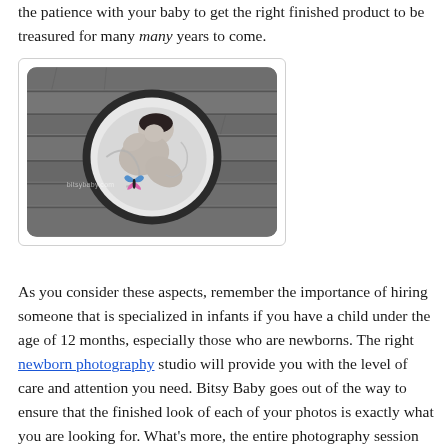the patience with your baby to get the right finished product to be treasured for many many years to come.
[Figure (photo): Black and white photograph of a newborn baby curled up inside a round bowl or bucket, placed on a rustic wooden floor. The image has a watermark reading 'bitsybaby.com' with a small colorful butterfly logo.]
As you consider these aspects, remember the importance of hiring someone that is specialized in infants if you have a child under the age of 12 months, especially those who are newborns. The right newborn photography studio will provide you with the level of care and attention you need. Bitsy Baby goes out of the way to ensure that the finished look of each of your photos is exactly what you are looking for. What's more, the entire photography session will be easy and a positive experience for all involved.